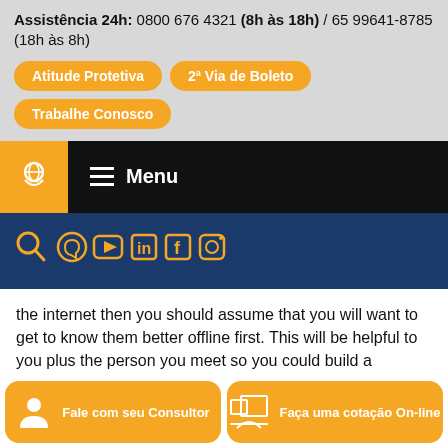Assistência 24h: 0800 676 4321 (8h às 18h) / 65 99641-8785 (18h às 8h)
Atitude Protetiva
2ª Via de Boleto
Trabalhe Conosco
[Figure (logo): Company logo in orange box on navy navigation bar with hamburger Menu button]
[Figure (infographic): Social media icons row: search, WhatsApp, YouTube, LinkedIn, Facebook, Instagram in orange on navy background]
the internet then you should assume that you will want to get to know them better offline first. This will be helpful to you plus the person you meet so you could build a foundation of trust that could be built into a lasting relationship.
Compartilhe agora
Fale com seu Consultor
Faça uma cotação On-line